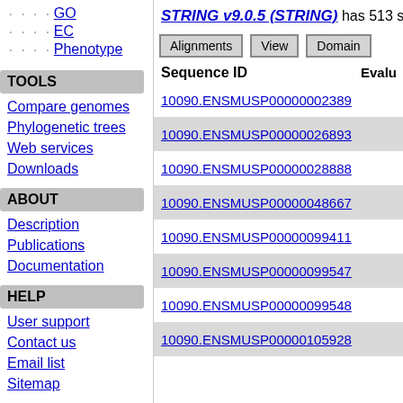GO
EC
Phenotype
TOOLS
Compare genomes
Phylogenetic trees
Web services
Downloads
ABOUT
Description
Publications
Documentation
HELP
User support
Contact us
Email list
Sitemap
STRING v9.0.5 (STRING) has 513 sign
Alignments | View | Domain
Sequence ID   Evalu
10090.ENSMUSP00000002389
10090.ENSMUSP00000026893
10090.ENSMUSP00000028888
10090.ENSMUSP00000048667
10090.ENSMUSP00000099411
10090.ENSMUSP00000099547
10090.ENSMUSP00000099548
10090.ENSMUSP00000105928